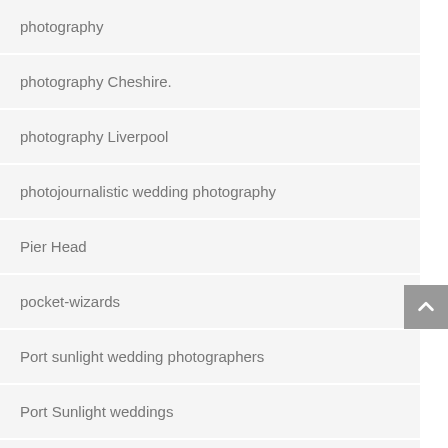photography
photography Cheshire.
photography Liverpool
photojournalistic wedding photography
Pier Head
pocket-wizards
Port sunlight wedding photographers
Port Sunlight weddings
Portrait Photographer Liverpool